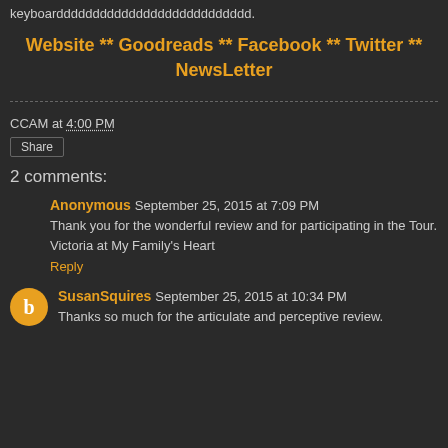keyboarddddddddddddddddddddddddddd.
Website ** Goodreads ** Facebook ** Twitter ** NewsLetter
CCAM at 4:00 PM
Share
2 comments:
Anonymous September 25, 2015 at 7:09 PM
Thank you for the wonderful review and for participating in the Tour. Victoria at My Family's Heart
Reply
SusanSquires September 25, 2015 at 10:34 PM
Thanks so much for the articulate and perceptive review.